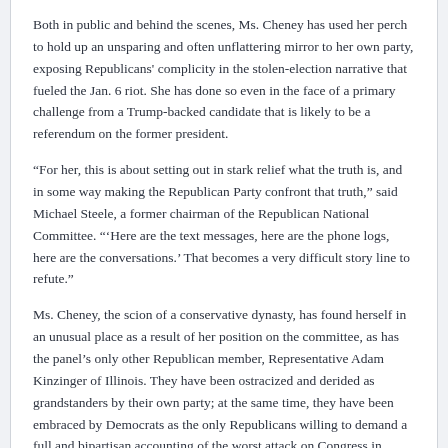Both in public and behind the scenes, Ms. Cheney has used her perch to hold up an unsparing and often unflattering mirror to her own party, exposing Republicans' complicity in the stolen-election narrative that fueled the Jan. 6 riot. She has done so even in the face of a primary challenge from a Trump-backed candidate that is likely to be a referendum on the former president.
“For her, this is about setting out in stark relief what the truth is, and in some way making the Republican Party confront that truth,” said Michael Steele, a former chairman of the Republican National Committee. “‘Here are the text messages, here are the phone logs, here are the conversations.’ That becomes a very difficult story line to refute.”
Ms. Cheney, the scion of a conservative dynasty, has found herself in an unusual place as a result of her position on the committee, as has the panel’s only other Republican member, Representative Adam Kinzinger of Illinois. They have been ostracized and derided as grandstanders by their own party; at the same time, they have been embraced by Democrats as the only Republicans willing to demand a full and bipartisan accounting of the worst attack on Congress in centuries.
During committee hearings and floor debates, Ms. Cheney often tailors her public comments to an audience of Republican voters and elected